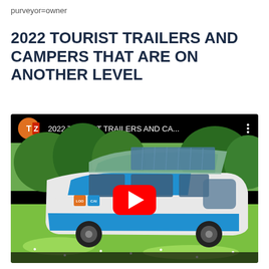purveyor=owner
2022 TOURIST TRAILERS AND CAMPERS THAT ARE ON ANOTHER LEVEL
[Figure (screenshot): YouTube video thumbnail showing a futuristic solar-powered camper vehicle (white and blue) with an extended roof/awning, parked on grass with trees in background. Video title bar reads '2022 TOURIST TRAILERS AND CA...' with a TZ channel logo (orange circle with T and Z letters). A large red YouTube play button is centered on the thumbnail.]